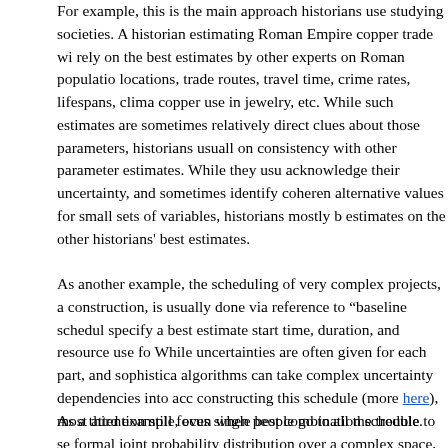For example, this is the main approach historians use studying societies. A historian estimating Roman Empire copper trade will rely on the best estimates by other experts on Roman population locations, trade routes, travel time, crime rates, lifespans, climate, copper use in jewelry, etc. While such estimates are sometimes relatively direct clues about those parameters, historians usually on consistency with other parameter estimates. While they usually acknowledge their uncertainty, and sometimes identify coherent alternative values for small sets of variables, historians mostly base estimates on the other historians' best estimates.
As another example, the scheduling of very complex projects, as in construction, is usually done via reference to "baseline schedules" specify a best estimate start time, duration, and resource use for each. While uncertainties are often given for each part, and sophisticated algorithms can take complex uncertainty dependencies into account in constructing this schedule (more here), most attention still focuses on a single best combination schedule.
As a third example, even when people go to all the trouble to set up a formal joint probability distribution over a complex space, as in